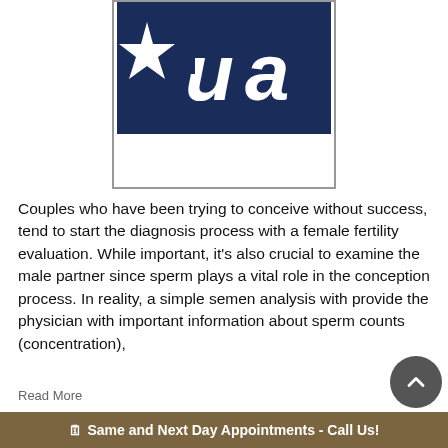[Figure (logo): UA university/clinic logo — dark navy blue rectangle with white stylized 'ua' letters and a white star shape on the left side]
Couples who have been trying to conceive without success, tend to start the diagnosis process with a female fertility evaluation. While important, it’s also crucial to examine the male partner since sperm plays a vital role in the conception process. In reality, a simple semen analysis with provide the physician with important information about sperm counts (concentration),
Read More
☑ Same and Next Day Appointments - Call Us!